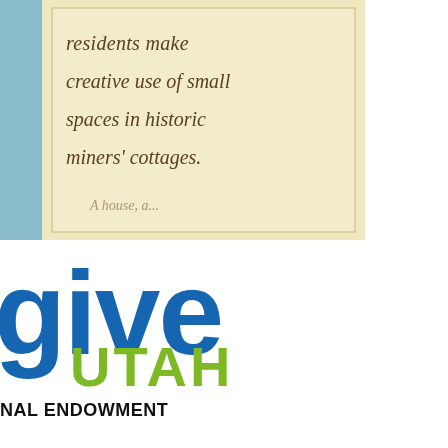[Figure (illustration): Partial book cover showing italic script text on cream/beige background with light blue border: 'residents make creative use of small spaces in historic miners' cottages.']
[Figure (logo): Give Utah logo - 'give' in large bold blue text, 'UTAH' in large bold green text below]
[Figure (logo): National Endowment for the Humanities logo - 'NAL ENDOWMENT' in bold black sans-serif, 'uma' in large bold black serif text]
[Figure (illustration): Four small historical sketch illustrations arranged in 2x2 grid showing groups of people in period clothing]